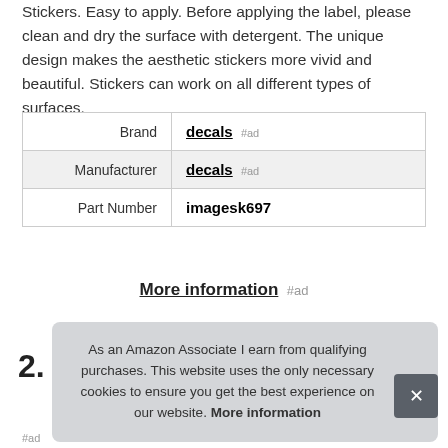Stickers. Easy to apply. Before applying the label, please clean and dry the surface with detergent. The unique design makes the aesthetic stickers more vivid and beautiful. Stickers can work on all different types of surfaces.
|  |  |
| --- | --- |
| Brand | decals #ad |
| Manufacturer | decals #ad |
| Part Number | imagesk697 |
More information #ad
As an Amazon Associate I earn from qualifying purchases. This website uses the only necessary cookies to ensure you get the best experience on our website. More information
#ad